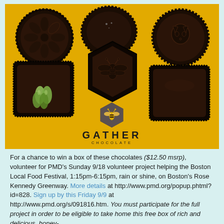[Figure (photo): Photo of a box of Gather Chocolate dark chocolates arranged on a yellow tray. Six chocolate pieces visible: top-left round with flower emboss, top-center round plain, top-right round with animal emboss, center hexagonal with bee emboss, bottom-left square with green seeds, bottom-right square plain. Gather Chocolate logo (hexagonal bee logo) with brand name visible at bottom of photo.]
For a chance to win a box of these chocolates ($12.50 msrp), volunteer for PMD's Sunday 9/18 volunteer project helping the Boston Local Food Festival, 1:15pm-6:15pm, rain or shine, on Boston's Rose Kennedy Greenway. More details at http://www.pmd.org/popup.phtml?id=828. Sign up by this Friday 9/9 at http://www.pmd.org/s/091816.htm. You must participate for the full project in order to be eligible to take home this free box of rich and delicious, honey-